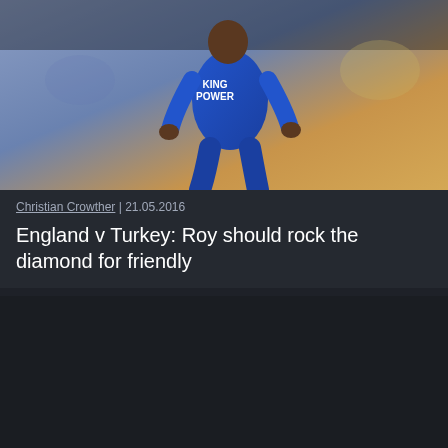[Figure (photo): A soccer player wearing a blue Leicester City (King Power) kit running during a match]
Christian Crowther | 21.05.2016
England v Turkey: Roy should rock the diamond for friendly
[Figure (photo): Dark placeholder image for second article]
William Geldart | 05.03.2014
Wales v Iceland: Bale to once again breathe life into Dragons